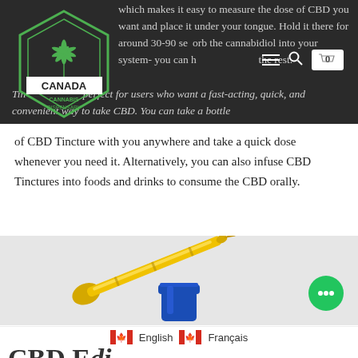Canada Cannabis Dispensary – navigation header with logo, hamburger menu, search, and cart icons
which makes it easy to measure the dose of CBD you want and place it under your tongue. Hold it there for around 30-90 seconds to absorb the cannabidiol into your system- you can then swallow the rest.
Tinctures are perfect for users who want a fast-acting, quick, and convenient way to take CBD. You can take a bottle of CBD Tincture with you anywhere and take a quick dose whenever you need it. Alternatively, you can also infuse CBD Tinctures into foods and drinks to consume the CBD orally.
[Figure (photo): Yellow glass dropper pipette above a blue glass bottle, on a light gray background, with a green chat bubble icon in the bottom right]
English  Français (language selector with Canadian flags)
CBD E...